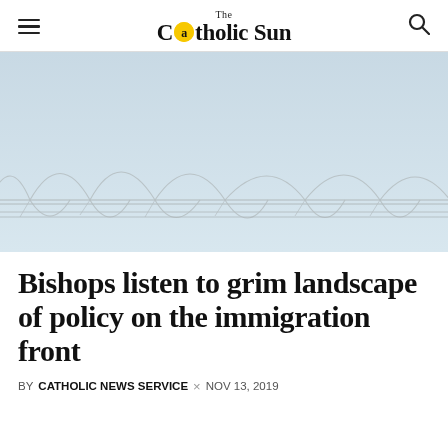The Catholic Sun
[Figure (photo): Close-up photo of razor wire / concertina wire against a pale blue sky, representing border security and immigration policy.]
Bishops listen to grim landscape of policy on the immigration front
BY CATHOLIC NEWS SERVICE × NOV 13, 2019